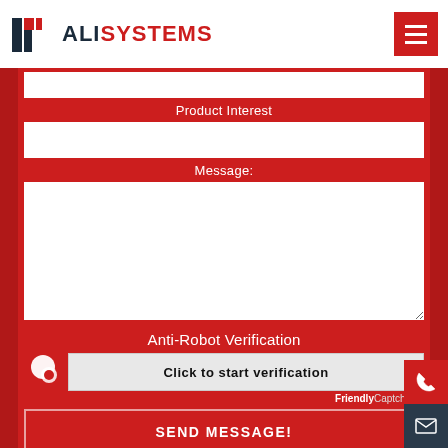ALI SYSTEMS
Product Interest
Message:
Anti-Robot Verification
Click to start verification
FriendlyCaptcha
SEND MESSAGE!